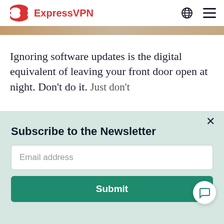ExpressVPN
[Figure (screenshot): ExpressVPN logo and navigation header with globe and hamburger menu icons]
Ignoring software updates is the digital equivalent of leaving your front door open at night. Don’t do it. Just don’t
Subscribe to the Newsletter
Email address
Submit